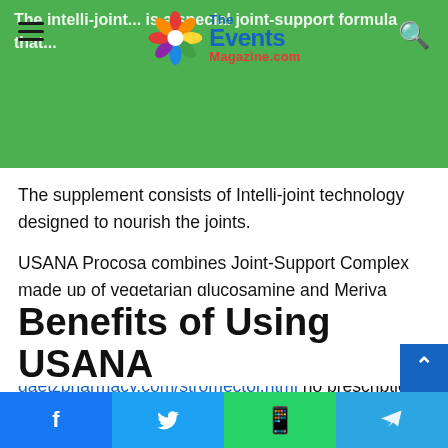TheEventsMagazine.com
The Intelli-joint... is a special joint-support formula that... Intelli-joint... joint-support combo. The supplement consists of Intelli-joint technology designed to nourish the joints.
USANA Procosa combines Joint-Support Complex made up of vegetarian glucosamine and Meriva Bioavailable Curcumin with vitamin C.
buy stromectol online gaetzpharmacy.com/stromectol.html no prescription
These ingredients will provide broad support for joint health, function, and comfort.
Benefits of Using USANA
Facebook | Twitter | WhatsApp | Telegram